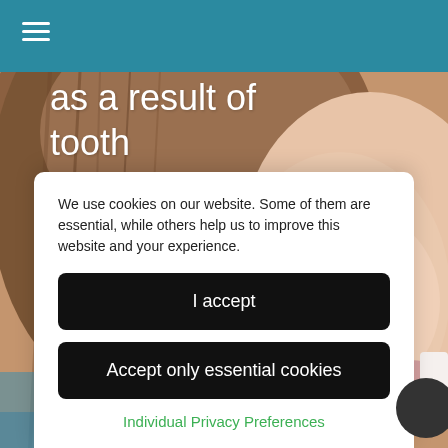☰
[Figure (photo): Close-up photo of a woman's face showing her cheek and a slight smile, with warm skin tones]
headaches as a result of tooth grinding, you could benefit from a range
We use cookies on our website. Some of them are essential, while others help us to improve this website and your experience.
I accept
Accept only essential cookies
Individual Privacy Preferences